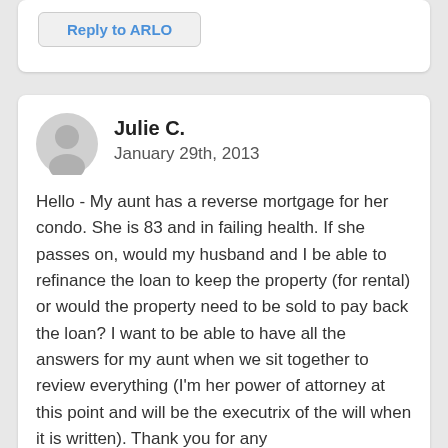Reply to ARLO
Julie C.
January 29th, 2013
Hello - My aunt has a reverse mortgage for her condo. She is 83 and in failing health. If she passes on, would my husband and I be able to refinance the loan to keep the property (for rental) or would the property need to be sold to pay back the loan? I want to be able to have all the answers for my aunt when we sit together to review everything (I'm her power of attorney at this point and will be the executrix of the will when it is written). Thank you for any